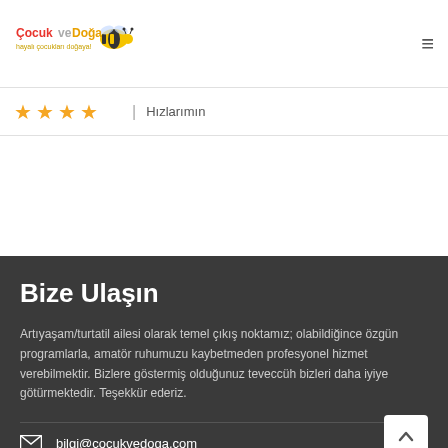[Figure (logo): Cocuk ve Doga logo with bee illustration and tagline]
☰ navigation menu icon
★★★★ | Hizlarımın
Bize Ulaşın
Artıyaşam/turtatil ailesi olarak temel çıkış noktamız; olabildiğince özgün programlarla, amatör ruhumuzu kaybetmeden profesyonel hizmet verebilmektir. Bizlere göstermiş olduğunuz teveccüh bizleri daha iyiye götürmektedir. Teşekkür ederiz.
bilgi@cocukvedoga.com